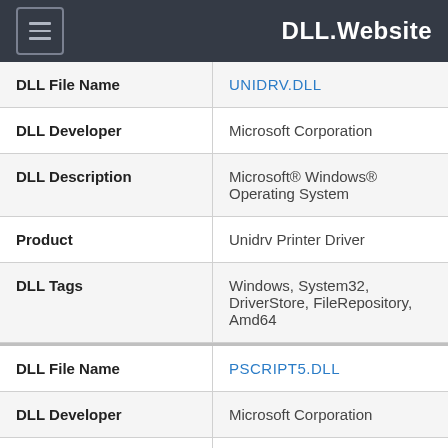DLL.Website
| Field | Value |
| --- | --- |
| DLL File Name | UNIDRV.DLL |
| DLL Developer | Microsoft Corporation |
| DLL Description | Microsoft® Windows® Operating System |
| Product | Unidrv Printer Driver |
| DLL Tags | Windows, System32, DriverStore, FileRepository, Amd64 |
| DLL File Name | PSCRIPT5.DLL |
| DLL Developer | Microsoft Corporation |
| DLL Description | Microsoft® Windows® Operating |